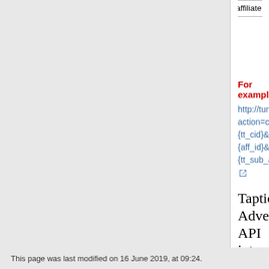| affiliate ID | tt_sub_aff... | id as it at the affiliate system. | tt_sub_aff=... |
| --- | --- | --- | --- |
For example
http://tune.com/serve?action=click&publisher_id=123456&site_id=3030...{tt_cid}&aff_id={aff_id}&tt_sub_aff={tt_sub_aff}
Taptica Advertiser API integration
Taptica is integrated with Axonite as our campaign automation platform.
provided your api solution has been integrated with Axonite - Taptica we'll need only the api credentials, otherwise, please provided your api documentations and credentials.
This page was last modified on 16 June 2019, at 09:24.